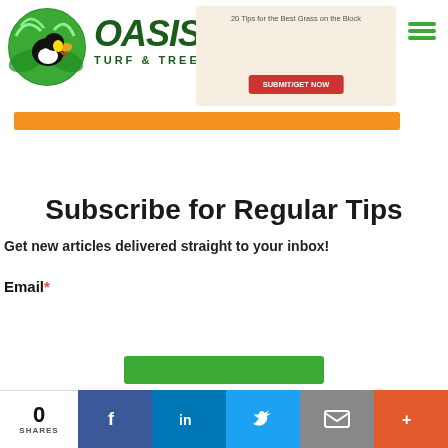[Figure (logo): Oasis Turf & Tree logo with toucan bird in green circle, company name in dark green italic bold font]
[Figure (screenshot): Hero banner with text '20 Tips for the Best Grass on the Block' and a red CTA button, orange bar below]
Subscribe for Regular Tips
Get new articles delivered straight to your inbox!
Email*
[Figure (screenshot): Social share bar with 0 SHARES count, Facebook, LinkedIn, Twitter, Email, and More buttons]